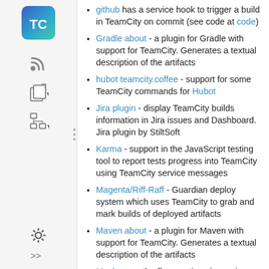github has a service hook to trigger a build in TeamCity on commit (see code at code)
Gradle about - a plugin for Gradle with support for TeamCity. Generates a textual description of the artifacts
hubot teamcity.coffee - support for some TeamCity commands for Hubot
Jira plugin - display TeamCity builds information in Jira issues and Dashboard. Jira plugin by StiltSoft
Karma - support in the JavaScript testing tool to report tests progress into TeamCity using TeamCity service messages
Magenta/Riff-Raff - Guardian deploy system which uses TeamCity to grab and mark builds of deployed artifacts
Maven about - a plugin for Maven with support for TeamCity. Generates a textual description of the artifacts
Mocha - on-the-fly reporting via service messages for Mocha JavaScript testing framework. Related post with instructions.
NDepend (instructions on configuring NDepend build and displaying reports in TeamCity)